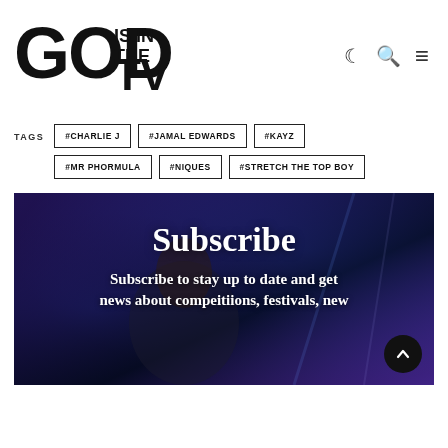[Figure (logo): GOD IS IN THE TV logo in bold black distressed typography]
TAGS
#CHARLIE J
#JAMAL EDWARDS
#KAYZ
#MR PHORMULA
#NIQUES
#STRETCH THE TOP BOY
[Figure (photo): Background photo of a performer under blue/purple stage lighting]
Subscribe
Subscribe to stay up to date and get news about compeitiions, festivals, new